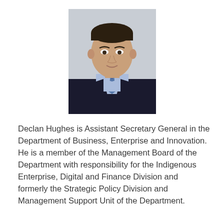[Figure (photo): Portrait photograph of Declan Hughes, a middle-aged man in a dark suit with a blue tie and light blue shirt, against a blurred background.]
Declan Hughes is Assistant Secretary General in the Department of Business, Enterprise and Innovation. He is a member of the Management Board of the Department with responsibility for the Indigenous Enterprise, Digital and Finance Division and formerly the Strategic Policy Division and Management Support Unit of the Department.